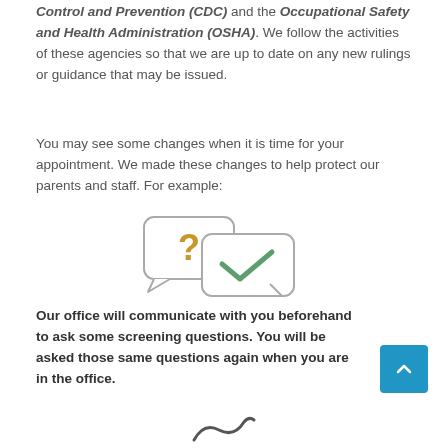Control and Prevention (CDC) and the Occupational Safety and Health Administration (OSHA). We follow the activities of these agencies so that we are up to date on any new rulings or guidance that may be issued.
You may see some changes when it is time for your appointment. We made these changes to help protect our parents and staff. For example:
[Figure (illustration): Two speech bubble icons: one with a yellow question mark and one with a green checkmark, overlapping]
Our office will communicate with you beforehand to ask some screening questions. You will be asked those same questions again when you are in the office.
[Figure (illustration): Partial squiggle/arrow icon at the bottom of the page]